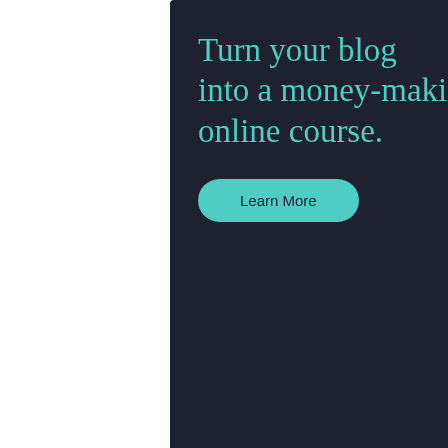[Figure (illustration): Advertisement banner with dark navy background. Large teal serif text reads 'Turn your blog into a money-making online course.' A teal rounded-rectangle button reads 'Learn More'. Bottom right shows the Sensei logo (white circle with tree icon) and 'sensei' in white text.]
REPORT THIS AD
umbata on January 22, 2010 at 7:03 pm
hi,
I've found out that if you set 'vertical-align' or 'font-size' on span element that is holding text to be truncated (ellipsis_text), the only thing you'll